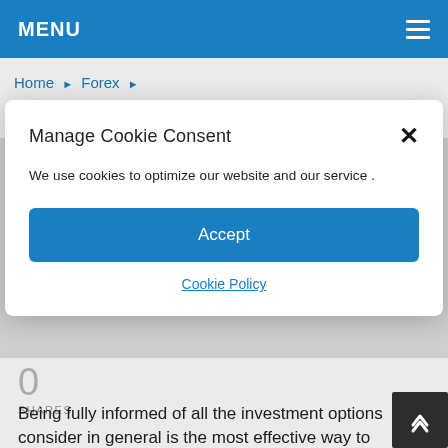MENU
Home ▶ Forex ▶
Manage Cookie Consent
We use cookies to optimize our website and our service .
Accept
Cookie Policy
0
SHARES
Being fully informed of all the investment options consider in general is the most effective way to